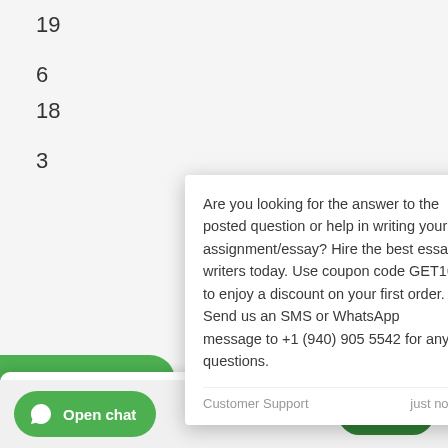19
6
18
3
[Figure (screenshot): A popup chat widget showing a promotional message from Customer Support asking if user is looking for answers or essay help, with coupon code GET10 and WhatsApp contact +1 (940) 905 5542]
Open chat
Chat